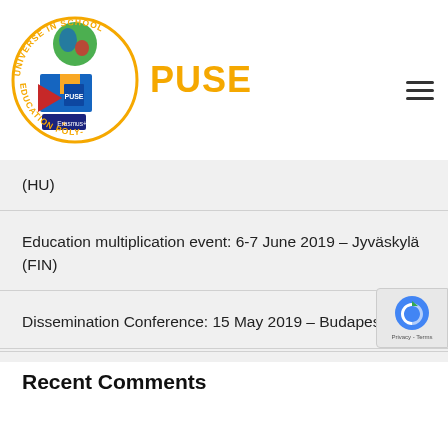[Figure (logo): PUSE - Poly-Universe in School Education Erasmus+ circular logo with colorful geometric shapes and globe, with PUSE text in orange/gold to the right]
(HU)
Education multiplication event: 6-7 June 2019 – Jyväskylä (FIN)
Dissemination Conference: 15 May 2019 – Budapest (HU)